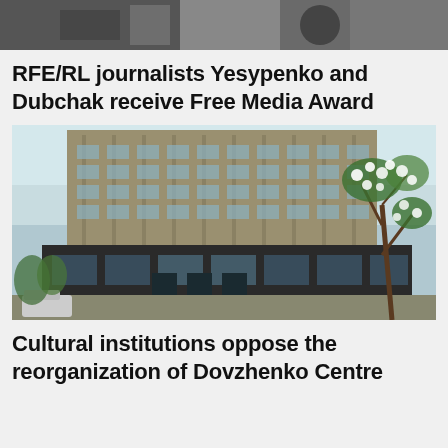[Figure (photo): Partial top image, cropped photo of people]
RFE/RL journalists Yesypenko and Dubchak receive Free Media Award
[Figure (photo): Photo of a large Soviet-style building (Dovzhenko Centre) with flowering tree branches in the foreground]
Cultural institutions oppose the reorganization of Dovzhenko Centre